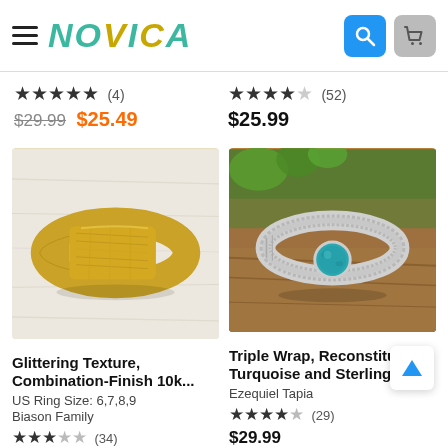NOVICA
★★★★★ (4)  $29.99  $25.49
★★★★★ (52)  $25.99
[Figure (photo): Gold textured ring with combination finish, displayed on white wood surface]
Glittering Texture, Combination-Finish 10k...
US Ring Size: 6,7,8,9
Biason Family
★★★☆☆ (34)
[Figure (photo): Silver triple-wrap ring with reconstituted turquoise stone on rocky surface]
Triple Wrap, Reconstituted Turquoise and Sterling
Ezequiel Tapia
★★★★★ (29)
$29.99